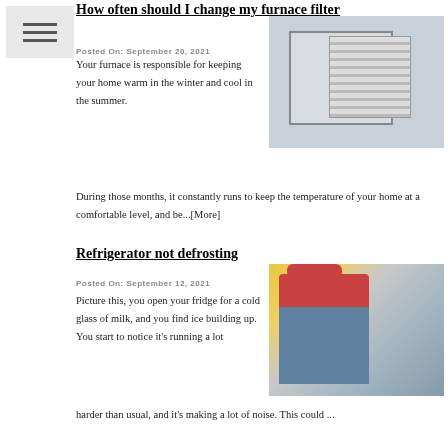How often should I change my furnace filter
Posted On: September 20, 2021
[Figure (photo): A person installing or changing a furnace/HVAC air filter]
Your furnace is responsible for keeping your home warm in the winter and cool in the summer. During those months, it constantly runs to keep the temperature of your home at a comfortable level, and be...[More]
Refrigerator not defrosting
Posted On: September 12, 2021
[Figure (photo): A technician in a red cap and grey and red uniform working on a refrigerator]
Picture this, you open your fridge for a cold glass of milk, and you find ice building up. You start to notice it's running a lot harder than usual, and it's making a lot of noise. This could ...